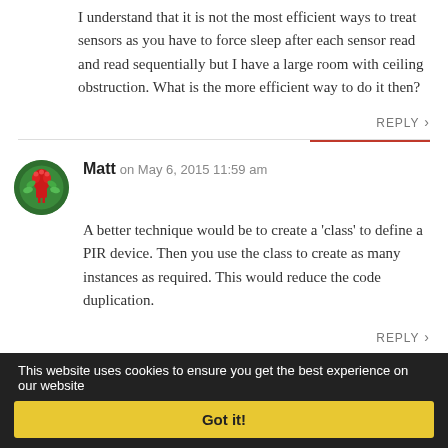I understand that it is not the most efficient ways to treat sensors as you have to force sleep after each sensor read and read sequentially but I have a large room with ceiling obstruction. What is the more efficient way to do it then?
REPLY
Matt on May 6, 2015 11:59 am
A better technique would be to create a ‘class’ to define a PIR device. Then you use the class to create as many instances as required. This would reduce the code duplication.
REPLY
Raul on July 26, 2015 1:43 pm
This website uses cookies to ensure you get the best experience on our website
Got it!